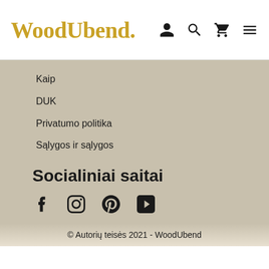WoodUbend.
Kaip
DUK
Privatumo politika
Sąlygos ir sąlygos
Socialiniai saitai
[Figure (illustration): Social media icons: Facebook, Instagram, Pinterest, YouTube]
© Autorių teisės 2021 - WoodUbend